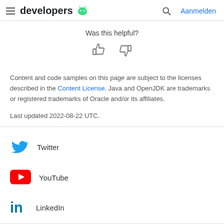developers [Android logo] | [search icon] Aanmelden
Was this helpful?
[Figure (illustration): Thumbs up and thumbs down icons for feedback]
Content and code samples on this page are subject to the licenses described in the Content License. Java and OpenJDK are trademarks or registered trademarks of Oracle and/or its affiliates.
Last updated 2022-08-22 UTC.
Twitter
YouTube
LinkedIn